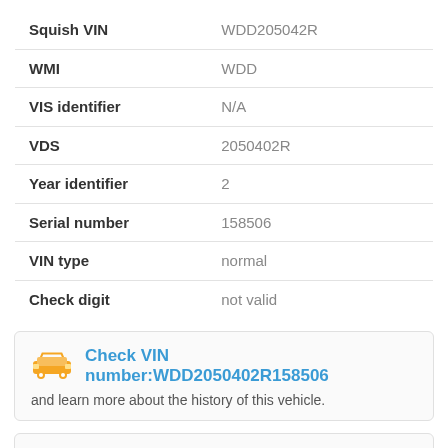| Field | Value |
| --- | --- |
| Squish VIN | WDD205042R |
| WMI | WDD |
| VIS identifier | N/A |
| VDS | 2050402R |
| Year identifier | 2 |
| Serial number | 158506 |
| VIN type | normal |
| Check digit | not valid |
Check VIN number:WDD2050402R158506 and learn more about the history of this vehicle.
General Information